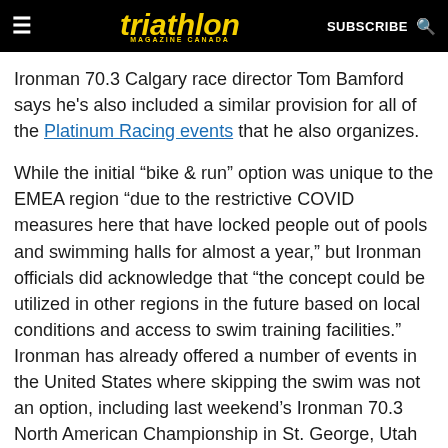triathlon MAGAZINE CANADA | SUBSCRIBE
Ironman 70.3 Calgary race director Tom Bamford says he’s also included a similar provision for all of the Platinum Racing events that he also organizes.
While the initial “bike & run” option was unique to the EMEA region “due to the restrictive COVID measures here that have locked people out of pools and swimming halls for almost a year,” but Ironman officials did acknowledge that “the concept could be utilized in other regions in the future based on local conditions and access to swim training facilities.” Ironman has already offered a number of events in the United States where skipping the swim was not an option, including last weekend’s Ironman 70.3 North American Championship in St. George, Utah that had 2,800 participants, but lockdowns in many parts of the United States have not been as restrictive